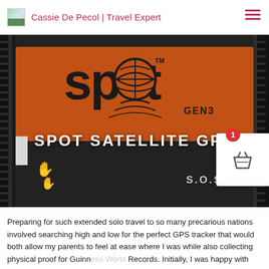Cassie De Pecol | Travel Expert
[Figure (photo): SPOT Satellite GPS GEN3 device shown close-up. Orange and black device with SPOT logo, GEN3 label, SOS button, and hand icons.]
SPOT SATELLITE GPS
Preparing for such extended solo travel to so many precarious nations involved searching high and low for the perfect GPS tracker that would both allow my parents to feel at ease where I was while also collecting physical proof for Guinness World Records. Initially, I was happy with SPOT, as it tracked me